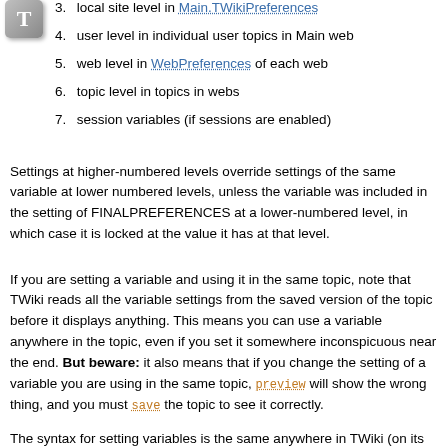3. local site level in Main.TWikiPreferences
4. user level in individual user topics in Main web
5. web level in WebPreferences of each web
6. topic level in topics in webs
7. session variables (if sessions are enabled)
Settings at higher-numbered levels override settings of the same variable at lower numbered levels, unless the variable was included in the setting of FINALPREFERENCES at a lower-numbered level, in which case it is locked at the value it has at that level.
If you are setting a variable and using it in the same topic, note that TWiki reads all the variable settings from the saved version of the topic before it displays anything. This means you can use a variable anywhere in the topic, even if you set it somewhere inconspicuous near the end. But beware: it also means that if you change the setting of a variable you are using in the same topic, preview will show the wrong thing, and you must save the topic to see it correctly.
The syntax for setting variables is the same anywhere in TWiki (on its own TWiki bullet line, including nested bullets):